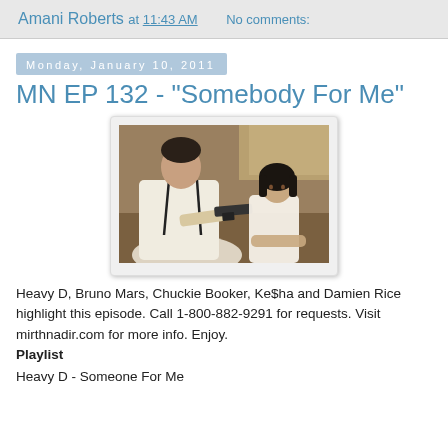Amani Roberts at 11:43 AM   No comments:
Monday, January 10, 2011
MN EP 132 - "Somebody For Me"
[Figure (photo): Two people at a table, one examining a handgun, movie still from Leon: The Professional]
Heavy D, Bruno Mars, Chuckie Booker, Ke$ha and Damien Rice highlight this episode. Call 1-800-882-9291 for requests. Visit mirthnadir.com for more info. Enjoy. Playlist
Heavy D - Someone For Me